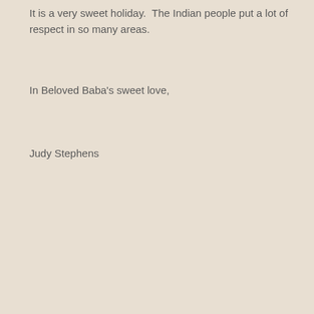It is a very sweet holiday.  The Indian people put a lot of respect in so many areas.
In Beloved Baba's sweet love,
Judy Stephens